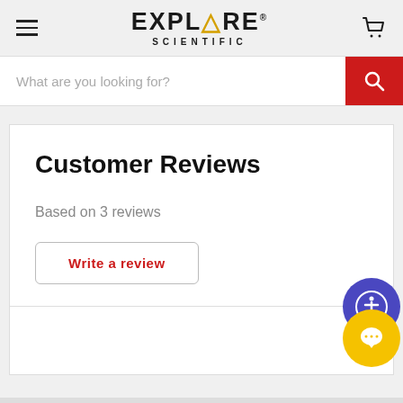[Figure (logo): Explore Scientific logo with stylized flame in 'O' and 'SCIENTIFIC' below in spaced letters]
What are you looking for?
Customer Reviews
Based on 3 reviews
Write a review